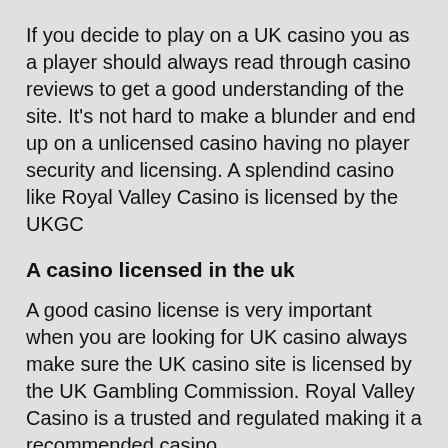If you decide to play on a UK casino you as a player should always read through casino reviews to get a good understanding of the site. It's not hard to make a blunder and end up on a unlicensed casino having no player security and licensing. A splendind casino like Royal Valley Casino is licensed by the UKGC
A casino licensed in the uk
A good casino license is very important when you are looking for UK casino always make sure the UK casino site is licensed by the UK Gambling Commission. Royal Valley Casino is a trusted and regulated making it a recommended casino.
What makes Royal Valley Casino a awesome gambling venue